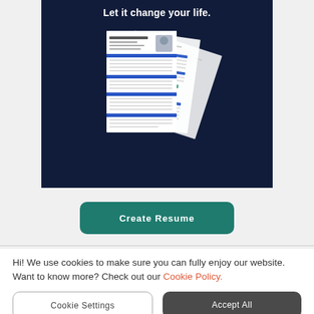Let it change your life.
[Figure (illustration): Three overlapping resume/CV document pages fanned out against a dark navy background, showing a professional resume template with blue section headers, a profile photo, and green skill bar charts.]
Create Resume
Hi! We use cookies to make sure you can fully enjoy our website. Want to know more? Check out our Cookie Policy.
Cookie Settings
Accept All